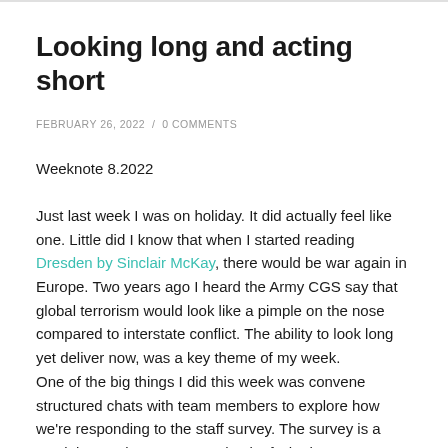Looking long and acting short
FEBRUARY 26, 2022  /  0 COMMENTS
Weeknote 8.2022
Just last week I was on holiday. It did actually feel like one. Little did I know that when I started reading Dresden by Sinclair McKay, there would be war again in Europe. Two years ago I heard the Army CGS say that global terrorism would look like a pimple on the nose compared to interstate conflict. The ability to look long yet deliver now, was a key theme of my week.
One of the big things I did this week was convene structured chats with team members to explore how we're responding to the staff survey. The survey is a crucial annual temperature check of whether we're